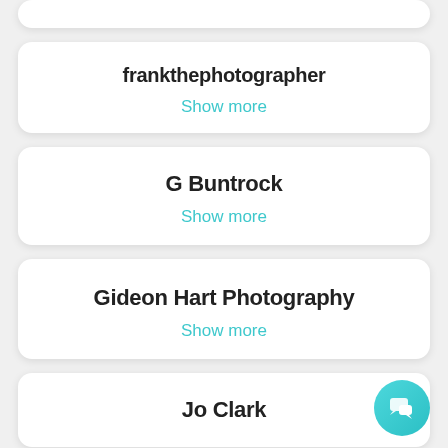(partial card top)
frankthephotographer
Show more
G Buntrock
Show more
Gideon Hart Photography
Show more
Jo Clark
[Figure (illustration): Teal circular chat button with chat bubble icon in bottom right corner]